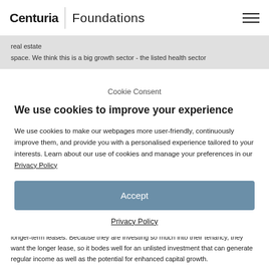Centuria | Foundations
real estate
space. We think this is a big growth sector - the listed health sector
Cookie Consent
We use cookies to improve your experience
We use cookies to make our webpages more user-friendly, continuously improve them, and provide you with a personalised experience tailored to your interests. Learn about our use of cookies and manage your preferences in our Privacy Policy
Accept
Privacy Policy
do purchase healthcare real estate, you are getting strong operators and usually longer-term leases. Because they are investing so much into their tenancy, they want the longer lease, so it bodes well for an unlisted investment that can generate regular income as well as the potential for enhanced capital growth.